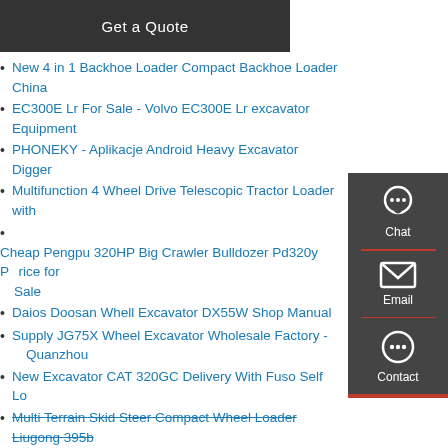[Figure (other): Dark grey button with text 'Get a Quote']
New 4 in 1 Backhoe Loader Compact Backhoe Loader China
EC300E Lr For Sale - Volvo EC300E Lr excavator Equipment
PHONEKY - Aplikacje Android Heavy Excavator Digger
Multifunction 4 Wheel Drive Telescopic Tractor Loader with
Cheap Pengpu 320HP Big Crawler Bulldozer Pd320y Price for Sale
Daios Doosan Whell Excavator DX55W Shop Manual
Supply JG75X Wheel Excavator Wholesale Factory - Quanzhou
New Excavator CAT 320GC Delivery With Fuso Self Lo...
Multi Terrain Skid Steer Compact Wheel Loader Liugong 395b
21 TON Crawler Excavators SY215C Medium Excavator M...
BETHEL EXCAVATING - Excavation Services - W4232 Count...
mini digger buckets x5 n trailer eBay
JCB 4CX-15 Super Backhoe Loader Norlift
Caterpillar M318F M320F Wheeled Excavators
[Figure (infographic): Dark grey side panel with Chat (headset icon), Email (envelope icon), and Contact (speech bubble icon) buttons]